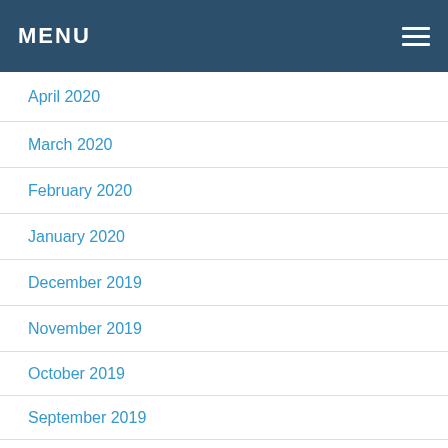MENU
April 2020
March 2020
February 2020
January 2020
December 2019
November 2019
October 2019
September 2019
August 2019
July 2019
June 2019
May 2019